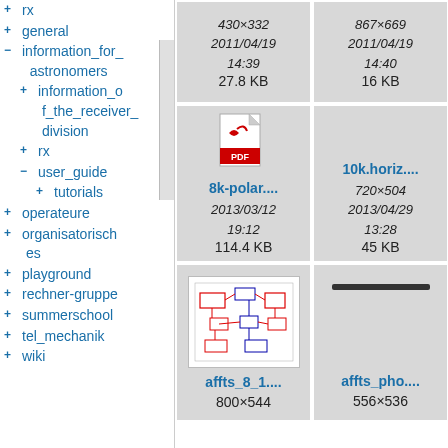+ rx
+ general
- information_for_astronomers
+ information_of_the_receiver_division
+ rx
- user_guide
+ tutorials
+ operateure
+ organisatorisches
+ playground
+ rechner-gruppe
+ summerschool
+ tel_mechanik
+ wiki
[Figure (screenshot): File grid showing: top row: 430x332 file (2011/04/19 14:39, 27.8 KB), 867x669 file (2011/04/19 14:40, 16 KB), partial third cell; middle row: 8k-polar.... PDF file (2013/03/12 19:12, 114.4 KB), 10k.horiz.... image (720x504, 2013/04/29 13:28, 45 KB), partial third cell; bottom row: affts_8_1.... circuit diagram (800x544), affts_pho.... (556x536), partial third cell]